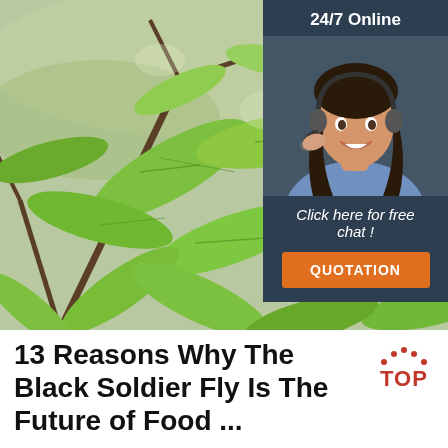[Figure (photo): Close-up photo of green leaves on branches, bright green foliage against a light background]
[Figure (infographic): 24/7 Online chat widget with a smiling female agent wearing a headset, dark navy background, 'Click here for free chat!' text, and orange QUOTATION button]
13 Reasons Why The Black Soldier Fly Is The Future of Food ...
In this article, you're going to learn why you should consider farming and eating the black soldier fly larvae (BSFL). What's more, I'm going to show you how to eat them and what are the